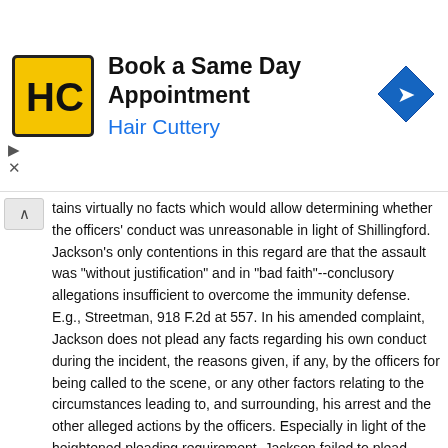[Figure (advertisement): Hair Cuttery advertisement banner: yellow square logo with HC initials, text 'Book a Same Day Appointment' and 'Hair Cuttery' in blue, blue diamond navigation icon on right.]
tains virtually no facts which would allow determining whether the officers' conduct was unreasonable in light of Shillingford. Jackson's only contentions in this regard are that the assault was "without justification" and in "bad faith"--conclusory allegations insufficient to overcome the immunity defense. E.g., Streetman, 918 F.2d at 557. In his amended complaint, Jackson does not plead any facts regarding his own conduct during the incident, the reasons given, if any, by the officers for being called to the scene, or any other factors relating to the circumstances leading to, and surrounding, his arrest and the other alleged actions by the officers. Especially in light of the heightened pleading requirement, Jackson failed to plead specific facts sufficient to overcome the officers' qualified immunity defense.
28 In Jacquez v. Procunier, 801 F.2d 789, 792 (5th Cir.1986), this court noted that "[o]rdinarily, when a complaint does not establish a cause of action in a case raising the issue of immunity, a district court should provide the plaintiff an opportunity to satisfy the heightened pleading requirements." However, such a complaint may